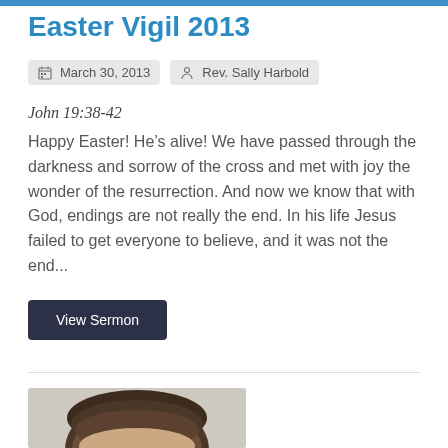Easter Vigil 2013
March 30, 2013   Rev. Sally Harbold
John 19:38-42
Happy Easter! He’s alive! We have passed through the darkness and sorrow of the cross and met with joy the wonder of the resurrection. And now we know that with God, endings are not really the end. In his life Jesus failed to get everyone to believe, and it was not the end...
View Sermon
[Figure (photo): Partial photo of a person with dark hair, showing top of head]